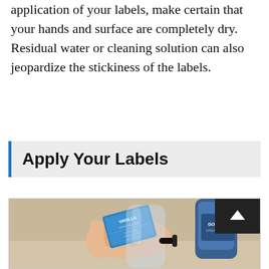application of your labels, make certain that your hands and surface are completely dry. Residual water or cleaning solution can also jeopardize the stickiness of the labels.
Apply Your Labels
[Figure (photo): A hand applying a blue label reading 'VANILLA' onto a clear glass bottle with a pump dispenser. Another labeled bottle visible in the background on the right.]